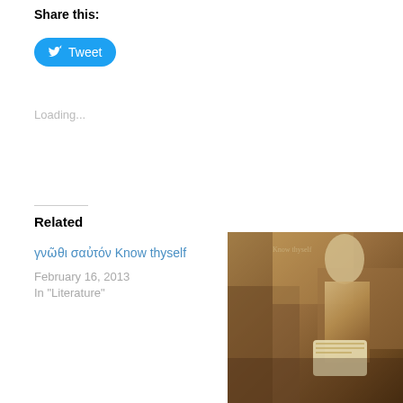Share this:
[Figure (other): Twitter Tweet button - blue rounded pill button with bird icon and text 'Tweet']
Loading...
Related
γνῶθι σαὐτόν Know thyself
February 16, 2013
In "Literature"
[Figure (photo): Partial view of an old Renaissance-style painting showing a figure with a scroll or book, warm golden-brown tones]